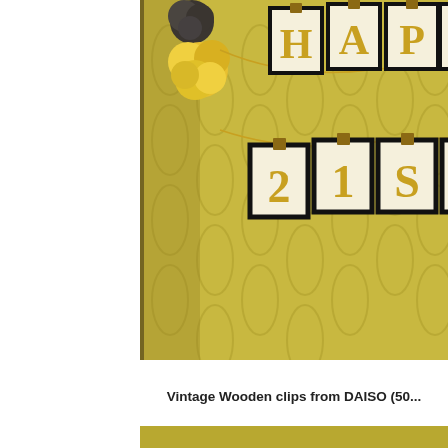[Figure (photo): A party decoration photo showing a happy birthday banner made of black-framed cards with gold letters spelling 'HAPPY 21ST' hung on strings with wooden clips, against a yellow-toned patterned wallpaper. Yellow and dark pom-poms are visible at the upper left corner of the banner.]
Vintage Wooden clips from DAISO (50...